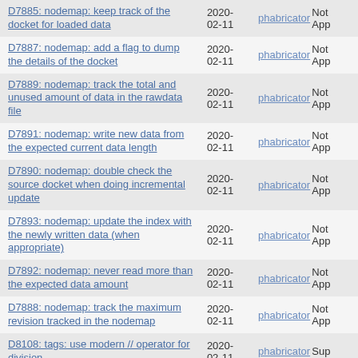| Title | Date | Author | Status |
| --- | --- | --- | --- |
| D7885: nodemap: keep track of the docket for loaded data | 2020-02-11 | phabricator | Not App... |
| D7887: nodemap: add a flag to dump the details of the docket | 2020-02-11 | phabricator | Not App... |
| D7889: nodemap: track the total and unused amount of data in the rawdata file | 2020-02-11 | phabricator | Not App... |
| D7891: nodemap: write new data from the expected current data length | 2020-02-11 | phabricator | Not App... |
| D7890: nodemap: double check the source docket when doing incremental update | 2020-02-11 | phabricator | Not App... |
| D7893: nodemap: update the index with the newly written data (when appropriate) | 2020-02-11 | phabricator | Not App... |
| D7892: nodemap: never read more than the expected data amount | 2020-02-11 | phabricator | Not App... |
| D7888: nodemap: track the maximum revision tracked in the nodemap | 2020-02-11 | phabricator | Not App... |
| D8108: tags: use modern // operator for division | 2020-02-11 | phabricator | Sup... |
| D8105: tests: add workaround for bzr bug | 2020-02-11 | phabricator | Not App... |
| D8106: tests: accept new bzr message about switching branches | 2020-02-11 | phabricator | Not App... |